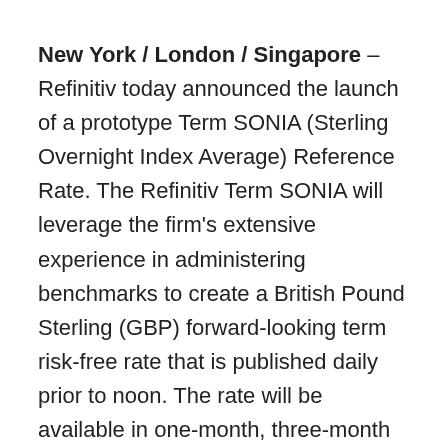New York / London / Singapore – Refinitiv today announced the launch of a prototype Term SONIA (Sterling Overnight Index Average) Reference Rate. The Refinitiv Term SONIA will leverage the firm's extensive experience in administering benchmarks to create a British Pound Sterling (GBP) forward-looking term risk-free rate that is published daily prior to noon. The rate will be available in one-month, three-month and six-month tenors.
The London InterBank Offered Rate (LIBOR) underpins hundreds of trillions of dollars of